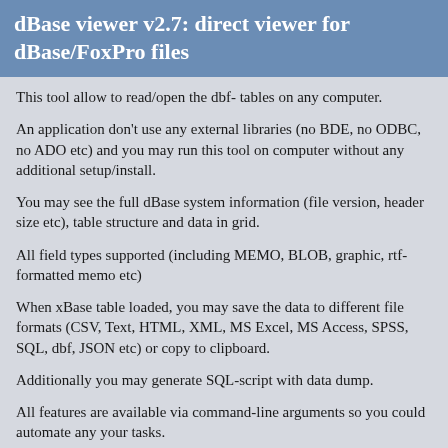dBase viewer v2.7: direct viewer for dBase/FoxPro files
This tool allow to read/open the dbf- tables on any computer.
An application don't use any external libraries (no BDE, no ODBC, no ADO etc) and you may run this tool on computer without any additional setup/install.
You may see the full dBase system information (file version, header size etc), table structure and data in grid.
All field types supported (including MEMO, BLOB, graphic, rtf-formatted memo etc)
When xBase table loaded, you may save the data to different file formats (CSV, Text, HTML, XML, MS Excel, MS Access, SPSS, SQL, dbf, JSON etc) or copy to clipboard.
Additionally you may generate SQL-script with data dump.
All features are available via command-line arguments so you could automate any your tasks.